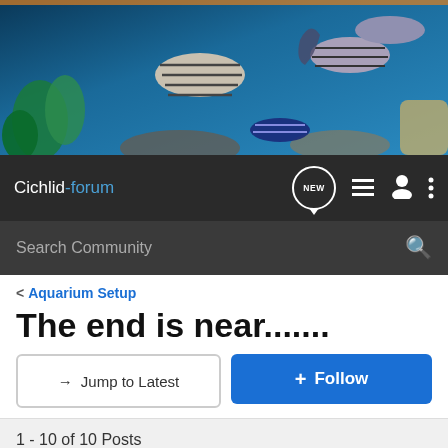[Figure (photo): Aquarium header banner with tropical fish, including striped cichlids, in a blue underwater scene with rocks and plants]
Cichlid-forum | Navigation bar with NEW chat button, content list icon, user icon, and menu icon
Search Community
< Aquarium Setup
The end is near.......
→ Jump to Latest
+ Follow
1 - 10 of 10 Posts
Melandave6571 · Registered
Joined Jul 5, 2016 · 140 Posts